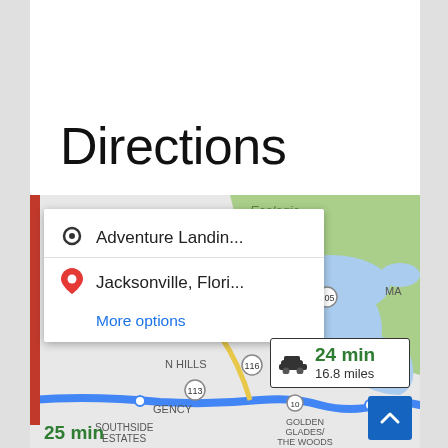Directions
[Figure (map): Google Maps screenshot showing directions from Adventure Landing to Jacksonville, Florida. Map shows Blount Island area with route 105, 116, 113 roads visible, blue route line along the bottom, and areas labeled Southside Estates and Golden Glades/The Woods. A direction popup shows 'Adventure Landin...' as origin and 'Jacksonville, Flori...' as destination with 'More options' link. A duration box shows a car icon, '24 min' in green, and '16.8 miles'. A blue scroll-up button is visible at bottom right.]